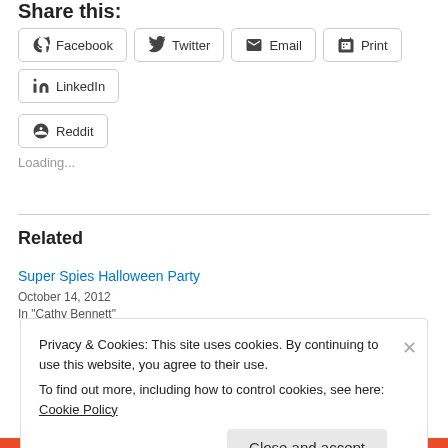Share this:
[Figure (other): Social share buttons: Facebook, Twitter, Email, Print, LinkedIn, Reddit]
Loading...
Related
Super Spies Halloween Party
October 14, 2012
In "Cathy Bennett"
Privacy & Cookies: This site uses cookies. By continuing to use this website, you agree to their use.
To find out more, including how to control cookies, see here: Cookie Policy